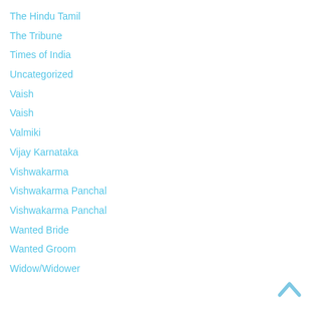The Hindu Tamil
The Tribune
Times of India
Uncategorized
Vaish
Vaish
Valmiki
Vijay Karnataka
Vishwakarma
Vishwakarma Panchal
Vishwakarma Panchal
Wanted Bride
Wanted Groom
Widow/Widower